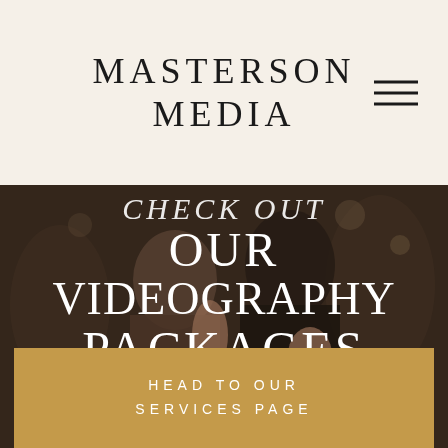MASTERSON MEDIA
[Figure (photo): Wedding couple dancing, man in dark suit, photographed at a reception event, used as hero background image with dark overlay]
CHECK OUT OUR VIDEOGRAPHY PACKAGES
HEAD TO OUR SERVICES PAGE